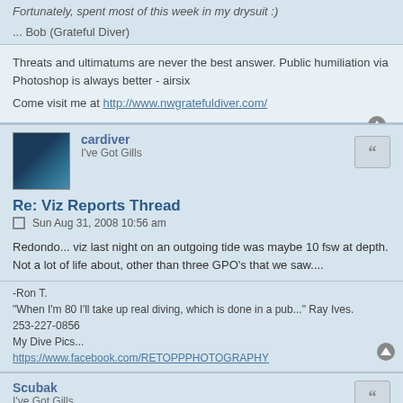... Fortunately, spent most of this week in my drysuit :)
... Bob (Grateful Diver)
Threats and ultimatums are never the best answer. Public humiliation via Photoshop is always better - airsix
Come visit me at http://www.nwgratefuldiver.com/
cardiver
I've Got Gills
Re: Viz Reports Thread
Sun Aug 31, 2008 10:56 am
Redondo... viz last night on an outgoing tide was maybe 10 fsw at depth. Not a lot of life about, other than three GPO's that we saw....
-Ron T.
"When I'm 80 I'll take up real diving, which is done in a pub..." Ray Ives.
253-227-0856
My Dive Pics...
https://www.facebook.com/RETOPPPHOTOGRAPHY
Scubak
I've Got Gills